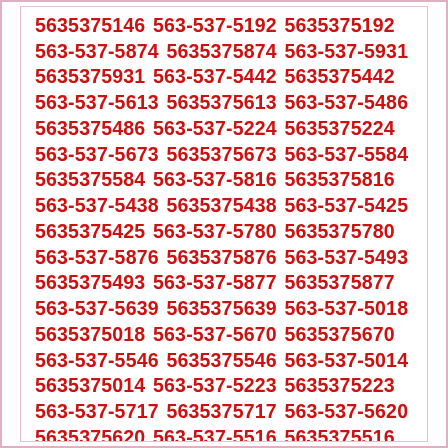5635375146 563-537-5192 5635375192 563-537-5874 5635375874 563-537-5931 5635375931 563-537-5442 5635375442 563-537-5613 5635375613 563-537-5486 5635375486 563-537-5224 5635375224 563-537-5673 5635375673 563-537-5584 5635375584 563-537-5816 5635375816 563-537-5438 5635375438 563-537-5425 5635375425 563-537-5780 5635375780 563-537-5876 5635375876 563-537-5493 5635375493 563-537-5877 5635375877 563-537-5639 5635375639 563-537-5018 5635375018 563-537-5670 5635375670 563-537-5546 5635375546 563-537-5014 5635375014 563-537-5223 5635375223 563-537-5717 5635375717 563-537-5620 5635375620 563-537-5516 5635375516 563-537-5809 5635375809 563-537-5467 5635375467 563-537-5180 5635375180 563-537-5276 5635375276 563-537-5594 5635375594 563-537-5574 5635375574 563-537-5076 5635375076 563-537-5163 5635375163 563-537-5062 5635375962 563-